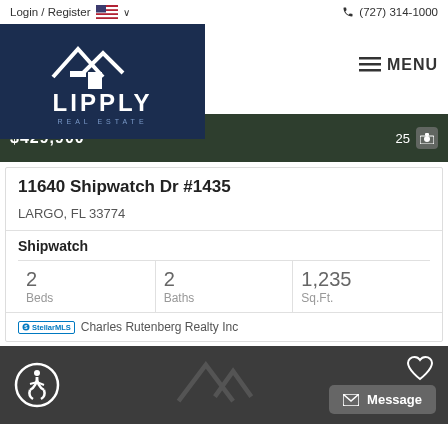Login / Register  🇺🇸 ∨  ☎ (727) 314-1000
[Figure (logo): Lipply Real Estate logo — white house/roof icon above LIPPLY in large bold letters and REAL ESTATE in spaced caps, on dark navy background]
≡ MENU
$429,900   25 📷
11640 Shipwatch Dr #1435
LARGO, FL 33774
Shipwatch
2 Beds   2 Baths   1,235 Sq.Ft.
Stellar MLS  Charles Rutenberg Realty Inc
[Figure (screenshot): Dark grey bottom bar with accessibility wheelchair icon, faint Lipply house logo watermark, heart/favorite icon top right, envelope Message button bottom right]